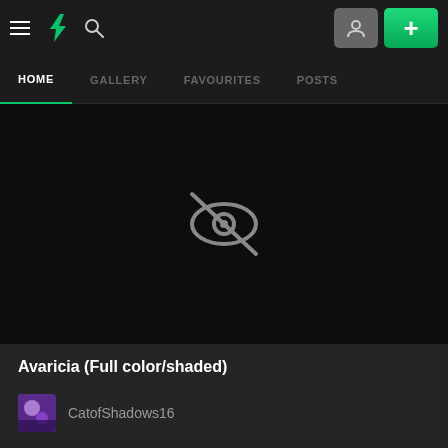DeviantArt navigation bar with hamburger menu, DA logo, search icon, user icon, and plus button
HOME | GALLERY | FAVOURITES | POSTS
[Figure (screenshot): A hidden/private content placeholder showing a crossed-out eye icon on a dark background]
Avaricia (Full color/shaded)
CatofShadows16